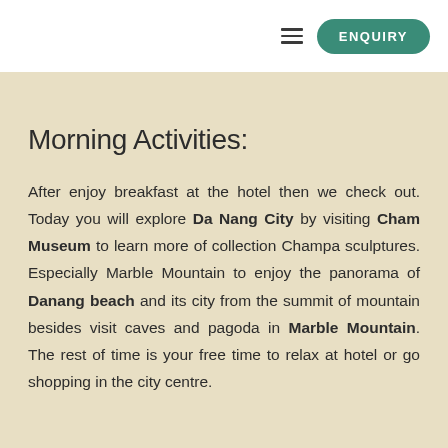ENQUIRY
Morning Activities:
After enjoy breakfast at the hotel then we check out. Today you will explore Da Nang City by visiting Cham Museum to learn more of collection Champa sculptures. Especially Marble Mountain to enjoy the panorama of Danang beach and its city from the summit of mountain besides visit caves and pagoda in Marble Mountain. The rest of time is your free time to relax at hotel or go shopping in the city centre.